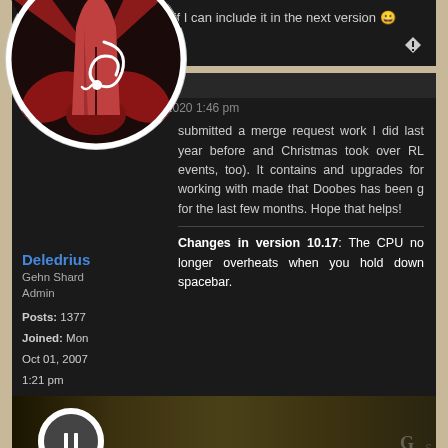free to tell me and I'll see if I can include it in the next version 😀
ZLZ PRP IMPORTER
Deledrius » Wed Feb 05, 2020 1:46 pm
submitted a merge request work I did last year before and Christmas took over RL events, too). It contains and upgrades for working with made that Doobes has been g for the last few months. Hope that helps!
Deledrius
Gehn Shard Admin

Posts: 1377
Joined: Mon Oct 01, 2007 1:21 pm
Changes in version 10.17: The CPU no longer overheats when you hold down spacebar.
[Figure (screenshot): Bottom image showing a dark golden-toned screenshot with a circular avatar partially visible]